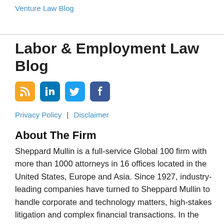Venture Law Blog
Labor & Employment Law Blog
[Figure (infographic): Four social media icons: RSS (orange), LinkedIn (blue), Twitter (light blue), Facebook (dark blue)]
Privacy Policy | Disclaimer
About The Firm
Sheppard Mullin is a full-service Global 100 firm with more than 1000 attorneys in 16 offices located in the United States, Europe and Asia. Since 1927, industry-leading companies have turned to Sheppard Mullin to handle corporate and technology matters, high-stakes litigation and complex financial transactions. In the U.S., the firm's clients include more than half of the